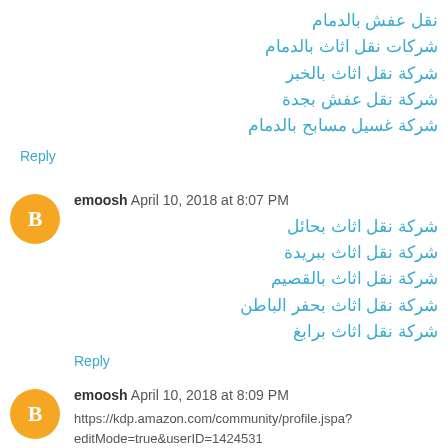نقل عفش بالدمام
شركات نقل اثاث بالدمام
شركة نقل اثاث بالخبر
شركة نقل عفش بجدة
شركة غسيل مسابح بالدمام
Reply
emoosh  April 10, 2018 at 8:07 PM
شركة نقل اثاث بحائل
شركة نقل اثاث ببريدة
شركة نقل اثاث بالقصيم
شركة نقل اثاث بحفر الباطن
شركة نقل اثاث برابغ
Reply
emoosh  April 10, 2018 at 8:09 PM
https://kdp.amazon.com/community/profile.jspa?editMode=true&userID=1424531